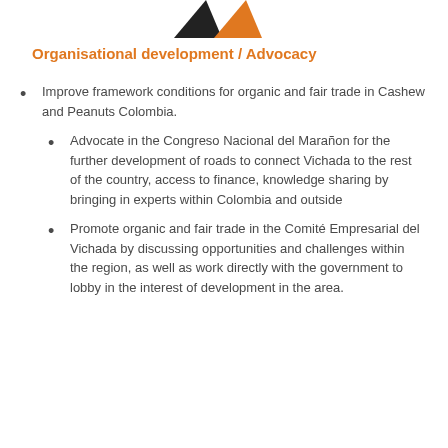[Figure (other): Partial logo or graphic image at top of page, cropped]
Organisational development / Advocacy
Improve framework conditions for organic and fair trade in Cashew and Peanuts Colombia.
Advocate in the Congreso Nacional del Marañon for the further development of roads to connect Vichada to the rest of the country, access to finance, knowledge sharing by bringing in experts within Colombia and outside
Promote organic and fair trade in the Comité Empresarial del Vichada by discussing opportunities and challenges within the region, as well as work directly with the government to lobby in the interest of development in the area.